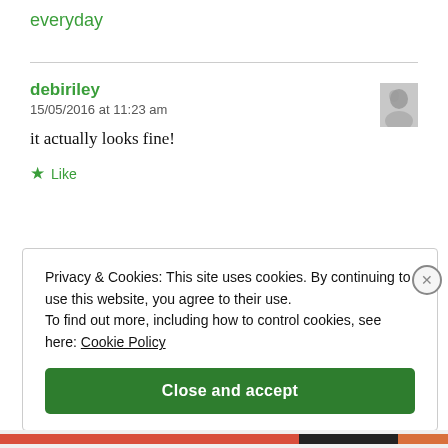everyday
debiriley
15/05/2016 at 11:23 am
it actually looks fine!
Like
Privacy & Cookies: This site uses cookies. By continuing to use this website, you agree to their use.
To find out more, including how to control cookies, see here: Cookie Policy
Close and accept